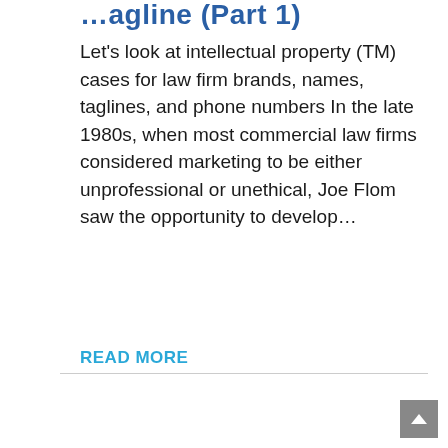…agline (Part 1)
Let's look at intellectual property (TM) cases for law firm brands, names, taglines, and phone numbers In the late 1980s, when most commercial law firms considered marketing to be either unprofessional or unethical, Joe Flom saw the opportunity to develop…
READ MORE